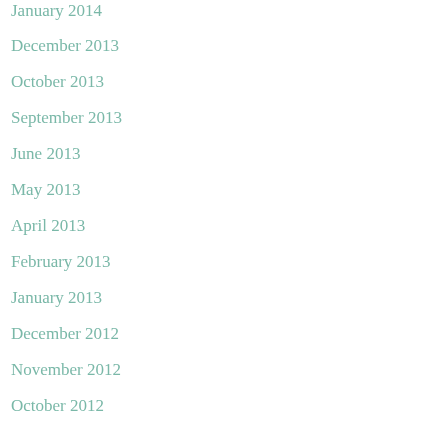January 2014
December 2013
October 2013
September 2013
June 2013
May 2013
April 2013
February 2013
January 2013
December 2012
November 2012
October 2012